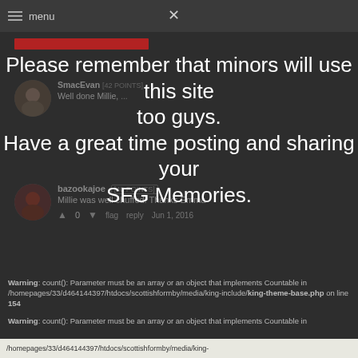≡ menu   ×
[Figure (screenshot): Website comment section with dark background showing user comments from SmacEvan and bazookajoe. SmacEvan says 'Well done Millie, ...' and bazookajoe says 'Millie was well chuffed! Thanks Emma'. Vote bar shows 0 votes, flag, reply, Jun 1, 2016.]
Please remember that minors will use this site too guys.
Have a great time posting and sharing your SFG Memories.
Warning: count(): Parameter must be an array or an object that implements Countable in /homepages/33/d464144397/htdocs/scottishformby/media/king-include/king-theme-base.php on line 154
Warning: count(): Parameter must be an array or an object that implements Countable in
/homepages/33/d464144397/htdocs/scottishformby/media/king-